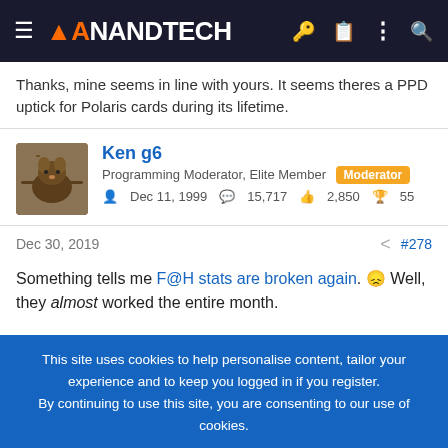AnandTech
Thanks, mine seems in line with yours. It seems theres a PPD uptick for Polaris cards during its lifetime.
Ken g6
Programming Moderator, Elite Member [Moderator]
Dec 11, 1999  15,717  2,850  55
Dec 30, 2019  #278
Something tells me F@H stats are broken again. 😕 Well, they almost worked the entire month.
This site uses cookies to help personalise content, tailor your experience and to keep you logged in if you register.
By continuing to use this site, you are consenting to our use of cookies.